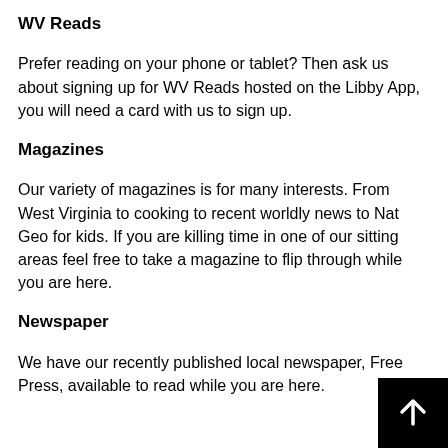WV Reads
Prefer reading on your phone or tablet? Then ask us about signing up for WV Reads hosted on the Libby App, you will need a card with us to sign up.
Magazines
Our variety of magazines is for many interests. From West Virginia to cooking to recent worldly news to Nat Geo for kids. If you are killing time in one of our sitting areas feel free to take a magazine to flip through while you are here.
Newspaper
We have our recently published local newspaper, Free Press, available to read while you are here.